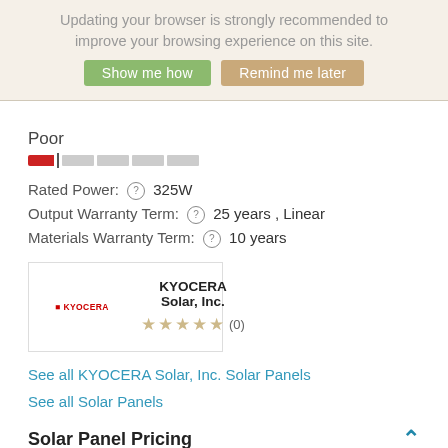Updating your browser is strongly recommended to improve your browsing experience on this site.
Show me how | Remind me later
Poor
[Figure (other): Rating bar showing Poor rating: one small red filled segment, a divider, and four empty grey segments]
Rated Power: ? 325W
Output Warranty Term: ? 25 years , Linear
Materials Warranty Term: ? 10 years
[Figure (logo): KYOCERA Solar, Inc. brand box with Kyocera logo on left, company name and 0-star rating (0 reviews) on right]
See all KYOCERA Solar, Inc. Solar Panels
See all Solar Panels
Solar Panel Pricing